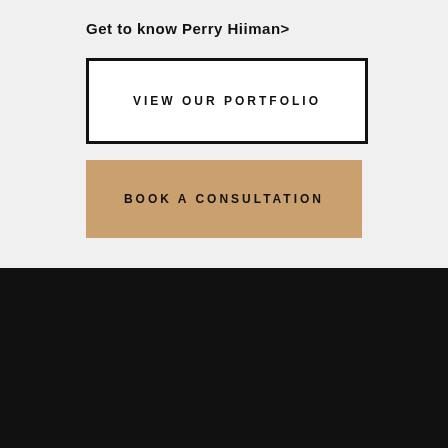Get to know Perry Hiiman>
VIEW OUR PORTFOLIO
BOOK A CONSULTATION
[Figure (logo): NYKB Kitchen & Bath logo in white text on black background]
NYKB CONTACT INFORMATION:
(212) 242-3500